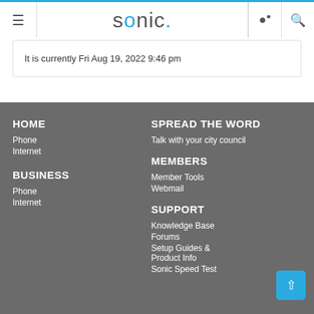sonic.
It is currently Fri Aug 19, 2022 9:46 pm
HOME
Phone
Internet
BUSINESS
Phone
Internet
SPREAD THE WORD
Talk with your city council
MEMBERS
Member Tools
Webmail
SUPPORT
Knowledge Base
Forums
Setup Guides & Product Info
Sonic Speed Test